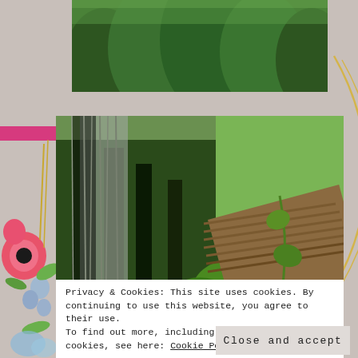[Figure (photo): Top background: lush green trees/forest canopy]
[Figure (photo): Main photo: outdoor scene with trees, hanging gray moss/vines, corrugated rusty metal roofing, climbing green vines/plants, burlap/tan fabric in foreground. Watermark text 'GodInspiredPhotos' visible.]
Privacy & Cookies: This site uses cookies. By continuing to use this website, you agree to their use.
To find out more, including how to control cookies, see here: Cookie Policy
Close and accept